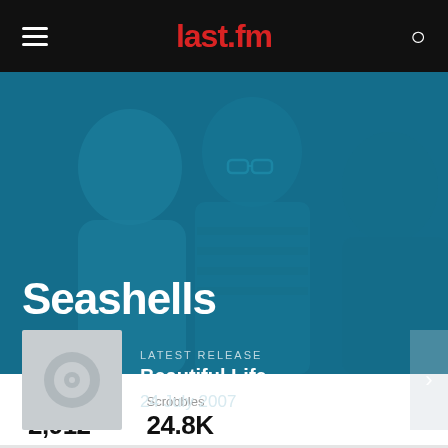last.fm
[Figure (photo): Band photo of Seashells with teal/blue color overlay, showing three people]
Seashells
LATEST RELEASE
Beautiful Life
24 July 2007
Listeners 2,912  Scrobbles 24.8K